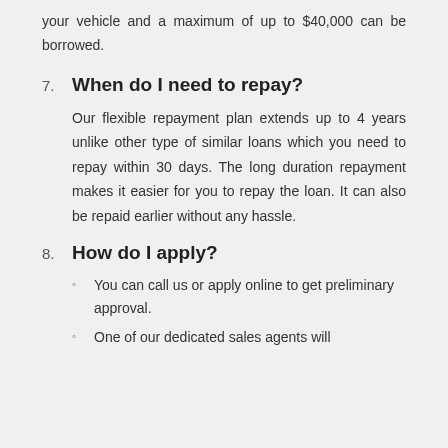your vehicle and a maximum of up to $40,000 can be borrowed.
7. When do I need to repay?
Our flexible repayment plan extends up to 4 years unlike other type of similar loans which you need to repay within 30 days. The long duration repayment makes it easier for you to repay the loan. It can also be repaid earlier without any hassle.
8. How do I apply?
You can call us or apply online to get preliminary approval.
One of our dedicated sales agents will